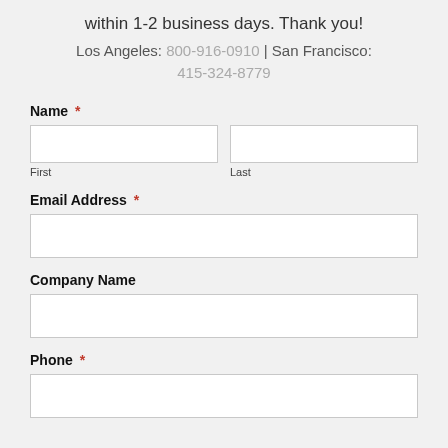within 1-2 business days. Thank you!
Los Angeles: 800-916-0910 | San Francisco: 415-324-8779
Name *
First
Last
Email Address *
Company Name
Phone *